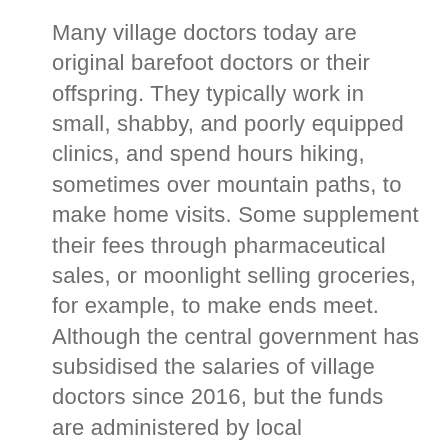Many village doctors today are original barefoot doctors or their offspring. They typically work in small, shabby, and poorly equipped clinics, and spend hours hiking, sometimes over mountain paths, to make home visits. Some supplement their fees through pharmaceutical sales, or moonlight selling groceries, for example, to make ends meet. Although the central government has subsidised the salaries of village doctors since 2016, but the funds are administered by local governments and doctors from many places have complained that the local governments do not always pass on the funds, tying up the process of applying for them in red tape. Data from the National Health and Family Planning Commission shows that the number of village doctors has continued to decline since 2011.